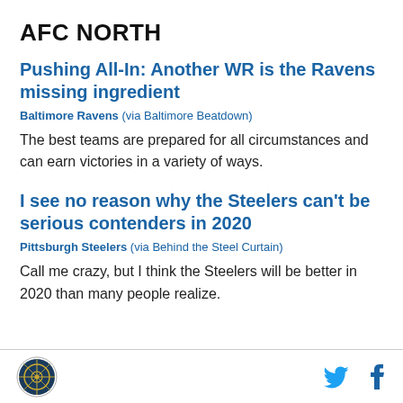AFC NORTH
Pushing All-In: Another WR is the Ravens missing ingredient
Baltimore Ravens (via Baltimore Beatdown)
The best teams are prepared for all circumstances and can earn victories in a variety of ways.
I see no reason why the Steelers can't be serious contenders in 2020
Pittsburgh Steelers (via Behind the Steel Curtain)
Call me crazy, but I think the Steelers will be better in 2020 than many people realize.
SB Nation logo | Twitter | Facebook